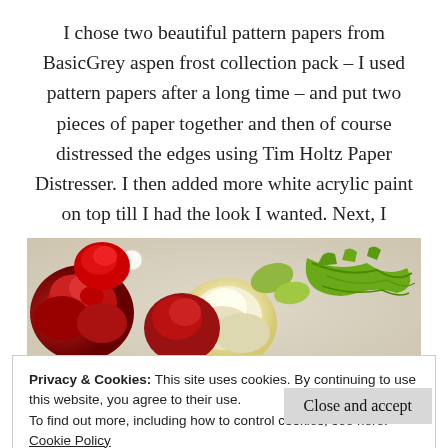I chose two beautiful pattern papers from BasicGrey aspen frost collection pack – I used pattern papers after a long time – and put two pieces of paper together and then of course distressed the edges using Tim Holtz Paper Distresser. I then added more white acrylic paint on top till I had the look I wanted. Next, I decorated with several red & white roses, swirly leaves and white thread together.
[Figure (photo): Close-up photo of red and white paper roses with green leaf decorations on a patterned background]
Privacy & Cookies: This site uses cookies. By continuing to use this website, you agree to their use.
To find out more, including how to control cookies, see here: Cookie Policy
Close and accept
[Figure (photo): Bottom strip showing partial view of decorated scrapbook with red, white and green elements]